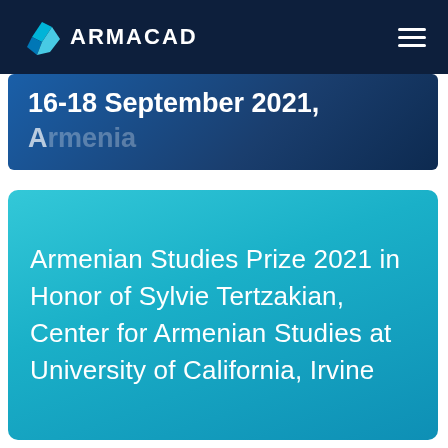[Figure (logo): ARMACAD logo with teal diamond/chevron icon and white text on dark navy navigation bar with hamburger menu]
16-18 September 2021,
Armenian Studies Prize 2021 in Honor of Sylvie Tertzakian, Center for Armenian Studies at University of California, Irvine